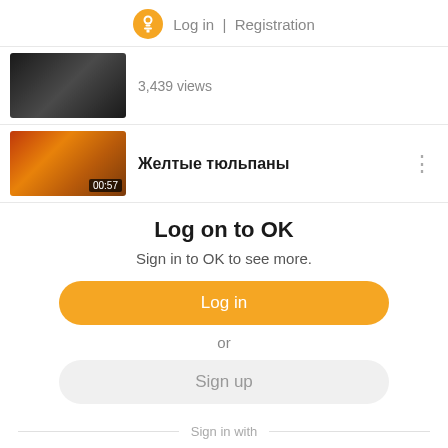Log in | Registration
[Figure (screenshot): Video thumbnail 1 – dark image, 3,439 views]
[Figure (screenshot): Video thumbnail 2 – yellow tulips, duration 00:57, title Желтые тюльпаны]
Log on to OK
Sign in to OK to see more.
Log in
or
Sign up
Sign in with
[Figure (infographic): Social login icons: VK, Mail.ru (@), Google (G), Yandex (Я), Apple]